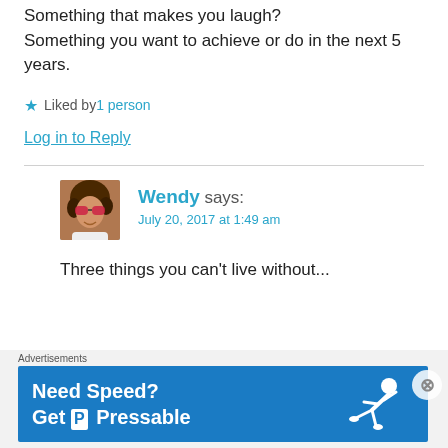Something that makes you laugh?
Something you want to achieve or do in the next 5 years.
Liked by 1 person
Log in to Reply
[Figure (photo): Avatar photo of Wendy — person with sunglasses and curly hair]
Wendy says:
July 20, 2017 at 1:49 am
Three things you can't live without...
Advertisements
[Figure (infographic): Pressable advertisement banner: 'Need Speed? Get Pressable' with runner figure on blue background]